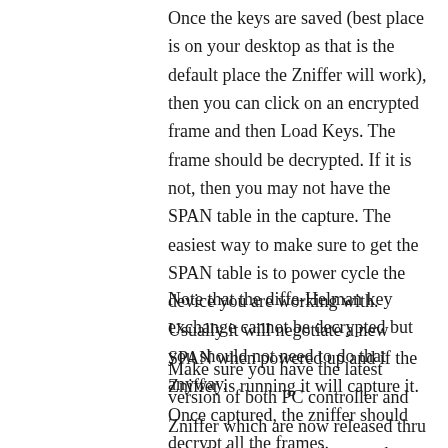Once the keys are saved (best place is on your desktop as that is the default place the Zniffer will work), then you can click on an encrypted frame and then Load Keys. The frame should be decrypted. If it is not, then you may not have the SPAN table in the capture. The easiest way to make sure to get the SPAN table is to power cycle the device you are working with. Usually it will negotiate a new SPAN when powered up and if the Zniffer is running it will capture it. Once captured, the zniffer should decrypt all the frames.
Note that the diffe-Helman key exchange cannot be decrypted but you should not need to do that anyway.
Make sure you have the latest version of both PC controller and Zniffer which are now released thru Simplicity Studio and not on the web. There was a version of the Zniffer earlier in 2019 that could not